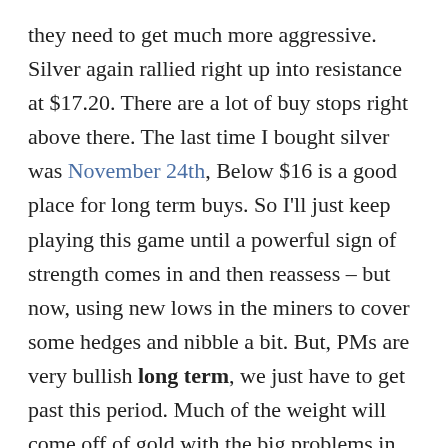they need to get much more aggressive. Silver again rallied right up into resistance at $17.20. There are a lot of buy stops right above there. The last time I bought silver was November 24th, Below $16 is a good place for long term buys. So I'll just keep playing this game until a powerful sign of strength comes in and then reassess – but now, using new lows in the miners to cover some hedges and nibble a bit. But, PMs are very bullish long term, we just have to get past this period. Much of the weight will come off of gold with the big problems in Europe, with the breakup and the bank derivatives. Gold and the $ can rally together at times. But for a long time, it's been my focus to watch gold's